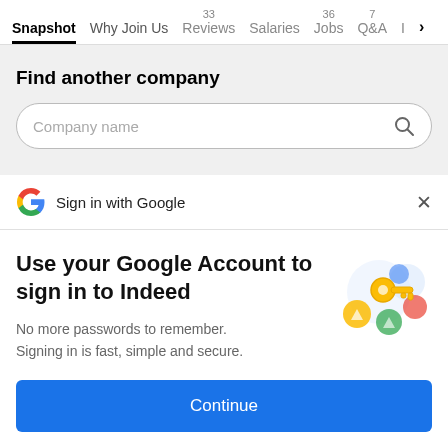Snapshot | Why Join Us | 33 Reviews | Salaries | 36 Jobs | 7 Q&A | I >
Find another company
Company name
Sign in with Google
Use your Google Account to sign in to Indeed
No more passwords to remember. Signing in is fast, simple and secure.
Continue